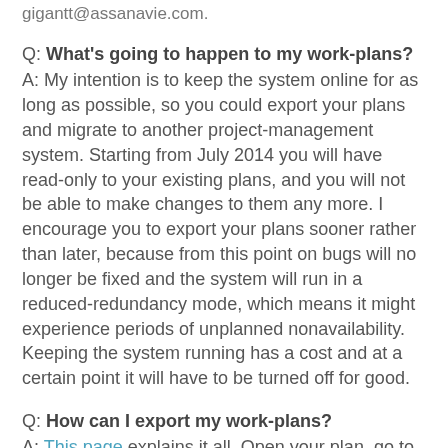gigantt@assanavie.com.
Q: What's going to happen to my work-plans?
A: My intention is to keep the system online for as long as possible, so you could export your plans and migrate to another project-management system. Starting from July 2014 you will have read-only to your existing plans, and you will not be able to make changes to them any more. I encourage you to export your plans sooner rather than later, because from this point on bugs will no longer be fixed and the system will run in a reduced-redundancy mode, which means it might experience periods of unplanned nonavailability. Keeping the system running has a cost and at a certain point it will have to be turned off for good.
Q: How can I export my work-plans?
A: This page explains it all. Open your plan, go to the menu -> plan -> export. There's no option to batch export multiple plans at the same time, so you would have to do this one by one if you use more than one plan.
Q: Is it possible to run Gigantt locally on my own